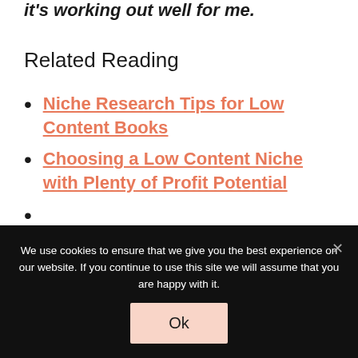it's working out well for me.
Related Reading
Niche Research Tips for Low Content Books
Choosing a Low Content Niche with Plenty of Profit Potential
We use cookies to ensure that we give you the best experience on our website. If you continue to use this site we will assume that you are happy with it.